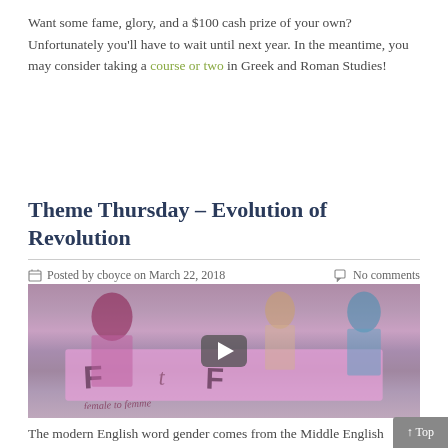Want some fame, glory, and a $100 cash prize of your own? Unfortunately you'll have to wait until next year. In the meantime, you may consider taking a course or two in Greek and Roman Studies!
Theme Thursday – Evolution of Revolution
Posted by cboyce on March 22, 2018   No comments
[Figure (photo): Video thumbnail showing protesters holding a pink banner reading 'FtF – female to femme' with a play button overlay. People in the background wearing pink.]
The modern English word gender comes from the Middle English